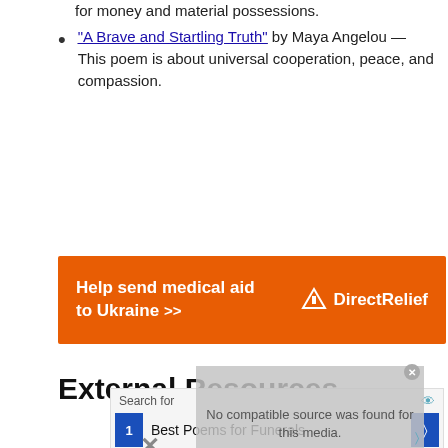for money and material possessions.
"A Brave and Startling Truth" by Maya Angelou — This poem is about universal cooperation, peace, and compassion.
[Figure (other): Orange advertisement banner: Help send medical aid to Ukraine >> Direct Relief logo]
External Resources
[Figure (screenshot): Search widget overlay with 'No compatible source was found for this media.' message, showing search results: 1. Best Poems for Funerals, 2. Ways To Get Rid Of Squirrels]